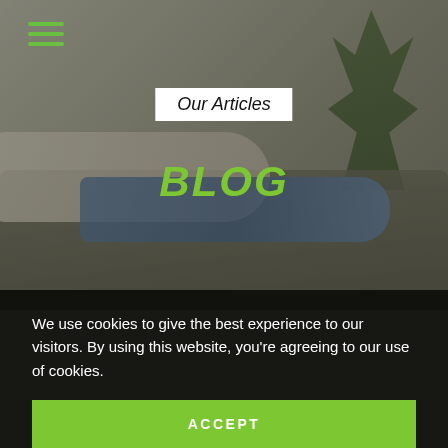[Figure (photo): Hero image of a person relaxing on a sofa with a plant in the background, with a dark overlay. Hamburger menu icon in top-left corner.]
Our Articles
BLOG
We use cookies to give the best experience to our visitors. By using this website, you're agreeing to our use of cookies.
ACCEPT